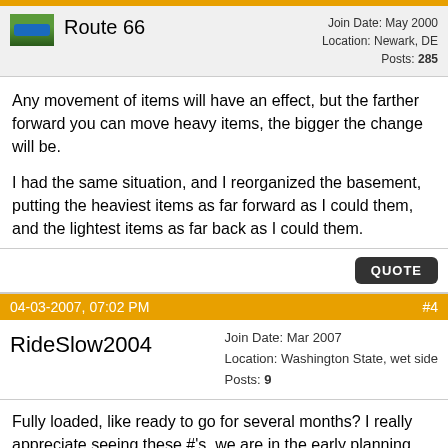Route 66
Join Date: May 2000
Location: Newark, DE
Posts: 285
Any movement of items will have an effect, but the farther forward you can move heavy items, the bigger the change will be.

I had the same situation, and I reorganized the basement, putting the heaviest items as far forward as I could them, and the lightest items as far back as I could them.
QUOTE
04-03-2007, 07:02 PM
#4
RideSlow2004
Join Date: Mar 2007
Location: Washington State, wet side
Posts: 9
Fully loaded, like ready to go for several months? I really appreciate seeing these #'s, we are in the early planning stages of picking a coach, and I want to bring my Harley, in addition to a toad. Trying to decide whether or not to hang the bike off the back, or trailer the whole shebang. Also, looking at the front axle #'s, moving much